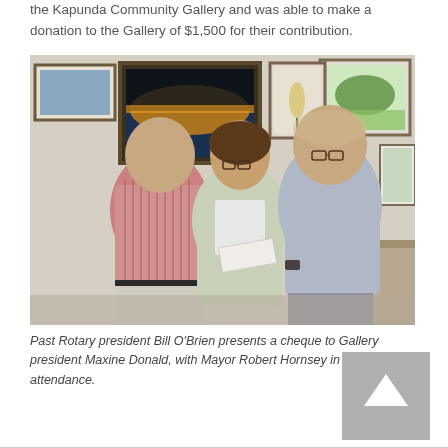the Kapunda Community Gallery and was able to make a donation to the Gallery of $1,500 for their contribution.
[Figure (photo): Three people standing in an art gallery. A man on the left wearing a striped shirt, a woman in the centre wearing a light jacket accepting a cheque, and a man on the right in a light blue shirt. Artworks hang on the walls behind them.]
Past Rotary president Bill O'Brien presents a cheque to Gallery president Maxine Donald, with Mayor Robert Hornsey in attendance.